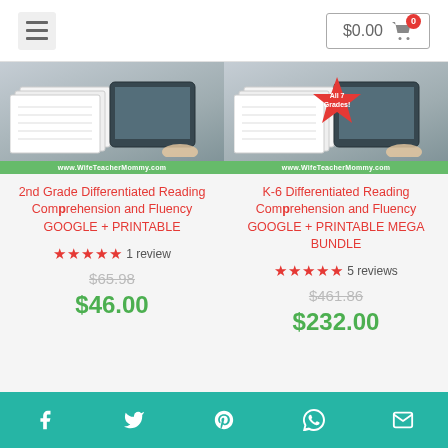$0.00 cart
[Figure (photo): 2nd Grade Differentiated Reading product thumbnail showing printed worksheets and a tablet on a wood desk, with www.WifeTeacherMommy.com banner]
[Figure (photo): K-6 Differentiated Reading product thumbnail showing printed worksheets and a tablet on a wood desk, with 'All 7 Grades!' starburst badge, with www.WifeTeacherMommy.com banner]
2nd Grade Differentiated Reading Comprehension and Fluency GOOGLE + PRINTABLE
K-6 Differentiated Reading Comprehension and Fluency GOOGLE + PRINTABLE MEGA BUNDLE
★★★★★ 1 review
★★★★★ 5 reviews
$65.98
$461.86
$46.00
$232.00
Social share icons: Facebook, Twitter, Pinterest, WhatsApp, Email